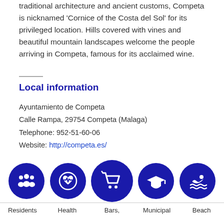traditional architecture and ancient customs, Competa is nicknamed 'Cornice of the Costa del Sol' for its privileged location. Hills covered with vines and beautiful mountain landscapes welcome the people arriving in Competa, famous for its acclaimed wine.
Local information
Ayuntamiento de Competa
Calle Rampa, 29754 Competa (Malaga)
Telephone: 952-51-60-06
Website: http://competa.es/
[Figure (infographic): Five blue circular icons representing: Residents (group of people), Health (heart with ECG line), Bars/shopping (shopping cart), Schools (graduation cap), Beach/pool (swimmer with waves)]
Residents  Health  Bars,  Municipal  Beach